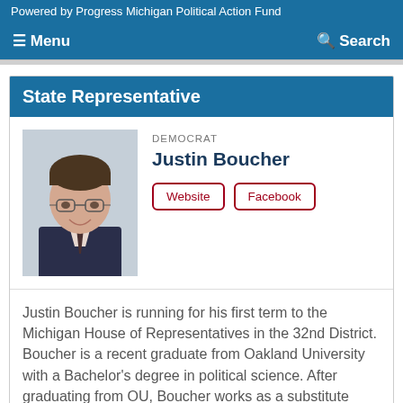Powered by Progress Michigan Political Action Fund
≡ Menu   Search
State Representative
[Figure (photo): Headshot photo of Justin Boucher, a young man with glasses wearing a dark suit and tie, smiling.]
DEMOCRAT
Justin Boucher
Website   Facebook
Justin Boucher is running for his first term to the Michigan House of Representatives in the 32nd District. Boucher is a recent graduate from Oakland University with a Bachelor's degree in political science. After graduating from OU, Boucher works as a substitute teacher
Read More